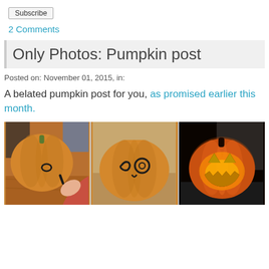Subscribe
2 Comments
Only Photos: Pumpkin post
Posted on: November 01, 2015, in:
A belated pumpkin post for you, as promised earlier this month.
[Figure (photo): Three photos showing the process of carving a pumpkin: (1) a child's hand drawing on an orange pumpkin with a marker, (2) the pumpkin with a face drawn in marker showing eyes and nose outlines, (3) the finished glowing orange jack-o-lantern with triangle eyes and a jagged smile lit from inside, sitting on a ledge.]